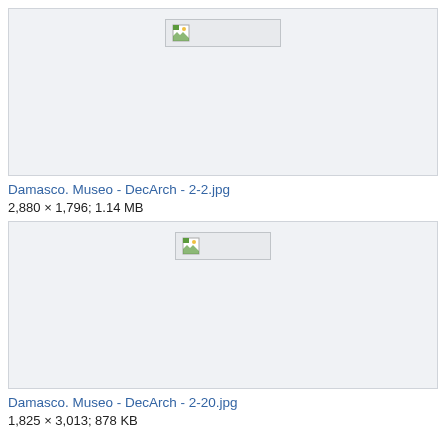[Figure (photo): Broken/unloaded image placeholder box with small icon]
Damasco. Museo - DecArch - 2-2.jpg
2,880 × 1,796; 1.14 MB
[Figure (photo): Broken/unloaded image placeholder box with small icon]
Damasco. Museo - DecArch - 2-20.jpg
1,825 × 3,013; 878 KB